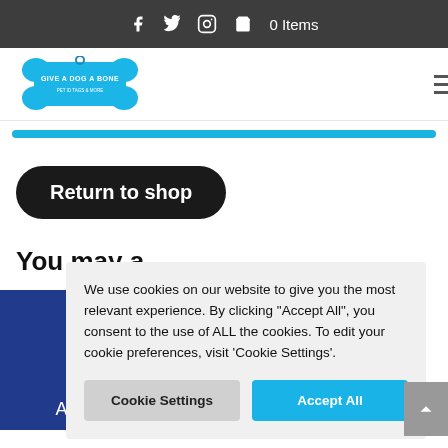f  Twitter  Instagram  🛒 0 Items
[Figure (logo): Give a Dog a Bone logo — blue bone shape with white text]
Return to shop
You may also like...
Advice
We use cookies on our website to give you the most relevant experience. By clicking "Accept All", you consent to the use of ALL the cookies. To edit your cookie preferences, visit 'Cookie Settings'.
Cookie Settings
Accept All